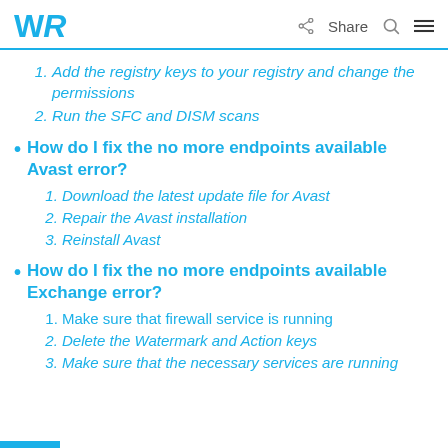WR | Share
1. Add the registry keys to your registry and change the permissions
2. Run the SFC and DISM scans
How do I fix the no more endpoints available Avast error?
1. Download the latest update file for Avast
2. Repair the Avast installation
3. Reinstall Avast
How do I fix the no more endpoints available Exchange error?
1. Make sure that firewall service is running
2. Delete the Watermark and Action keys
3. Make sure that the necessary services are running